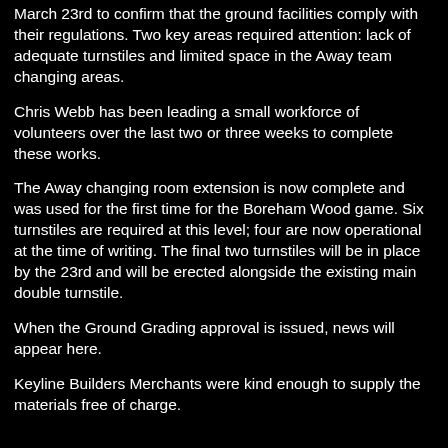March 23rd to confirm that the ground facilities comply with their regulations.  Two key areas required attention: lack of adequate turnstiles and limited space in the Away team changing areas.
Chris Webb has been leading a small workforce of volunteers over the last two or three weeks to complete these works.
The Away changing room extension is now complete and was used for the first time for the Boreham Wood game.  Six turnstiles are required at this level; four are now operational at the time of writing.  The final two turnstiles will be in place by the 23rd and will be erected alongside the existing main double turnstile.
When the Ground Grading approval is issued, news will appear here.
Keyline Builders Merchants were kind enough to supply the materials free of charge.